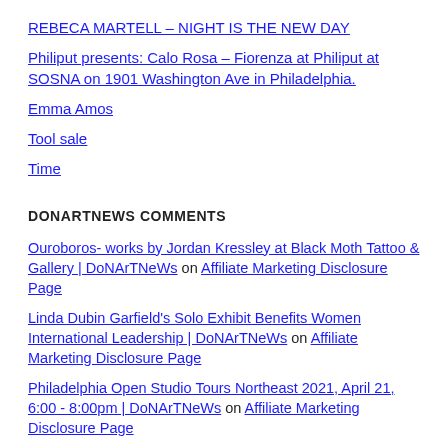REBECA MARTELL – NIGHT IS THE NEW DAY
Philiput presents: Calo Rosa – Fiorenza at Philiput at SOSNA on 1901 Washington Ave in Philadelphia.
Emma Amos
Tool sale
Time
DONARTNEWS COMMENTS
Ouroboros- works by Jordan Kressley at Black Moth Tattoo & Gallery | DoNArTNeWs on Affiliate Marketing Disclosure Page
Linda Dubin Garfield's Solo Exhibit Benefits Women International Leadership | DoNArTNeWs on Affiliate Marketing Disclosure Page
Philadelphia Open Studio Tours Northeast 2021, April 21, 6:00 - 8:00pm | DoNArTNeWs on Affiliate Marketing Disclosure Page
Shawn Theodore: Night Stars, A Solo Exhibition of New Work, Paradigm Gallery + Studio | DoNArTNeWs on Affiliate Marketing Disclosure Page